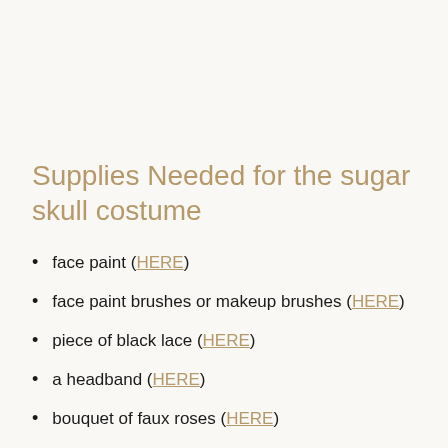Supplies Needed for the sugar skull costume
face paint (HERE)
face paint brushes or makeup brushes (HERE)
piece of black lace (HERE)
a headband (HERE)
bouquet of faux roses (HERE)
hot glue gun (HERE)
simple black dress (HERE)